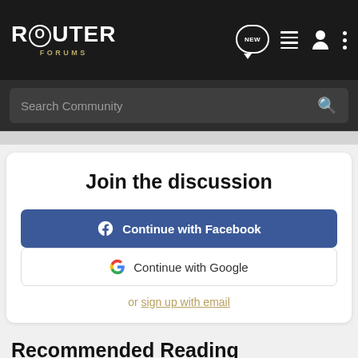ROUTER FORUMS
Search Community
Join the discussion
Continue with Facebook
Continue with Google
or sign up with email
Recommended Reading